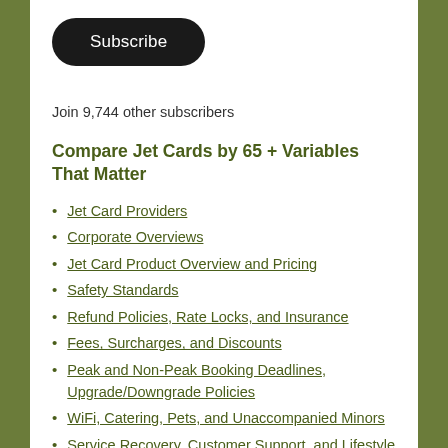[Figure (other): Black rounded rectangle Subscribe button]
Join 9,744 other subscribers
Compare Jet Cards by 65 + Variables That Matter
Jet Card Providers
Corporate Overviews
Jet Card Product Overview and Pricing
Safety Standards
Refund Policies, Rate Locks, and Insurance
Fees, Surcharges, and Discounts
Peak and Non-Peak Booking Deadlines, Upgrade/Downgrade Policies
WiFi, Catering, Pets, and Unaccompanied Minors
Service Recovery, Customer Support, and Lifestyle Partnerships